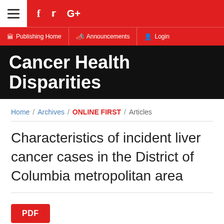≡  f  y  G+
Publishing Home  Announcements  Login
Cancer Health Disparities
Home / Archives / ONLINE FIRST / Articles
Characteristics of incident liver cancer cases in the District of Columbia metropolitan area
PDF